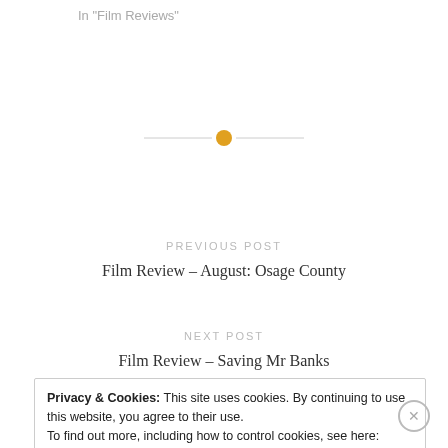In "Film Reviews"
[Figure (other): Horizontal divider line with an orange/gold circle in the center]
PREVIOUS POST
Film Review – August: Osage County
NEXT POST
Film Review – Saving Mr Banks
Privacy & Cookies: This site uses cookies. By continuing to use this website, you agree to their use.
To find out more, including how to control cookies, see here: Cookie Policy
Close and accept